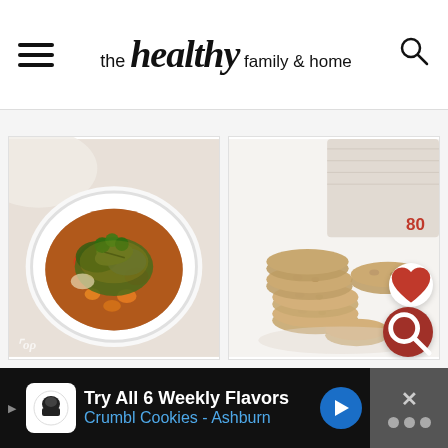the healthy family & home
[Figure (photo): Bowl of vegetable soup with broccoli, carrots, kale, and bay leaves in a tomato broth, overhead view in a white bowl]
[Figure (photo): Stack of oatmeal cookies with a heart icon button and search button overlay, on a white surface with a linen cloth background]
[Figure (other): Advertisement banner: Try All 6 Weekly Flavors Crumbl Cookies - Ashburn]